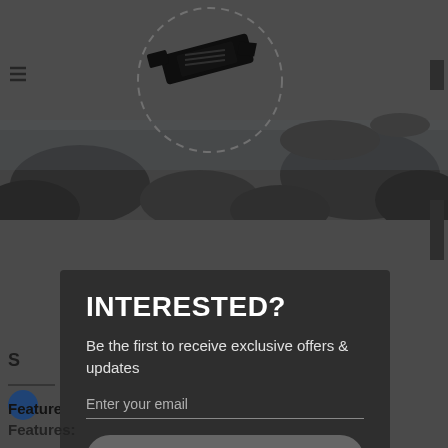[Figure (screenshot): Background page with rocky seascape image at top, partially visible navigation and product content behind a modal overlay. A pencil/pen icon with dashed circle is visible at upper left of the image area.]
INTERESTED?
Be the first to receive exclusive offers & updates
Enter your email
Join Now
Powered by
omnisend
Features: